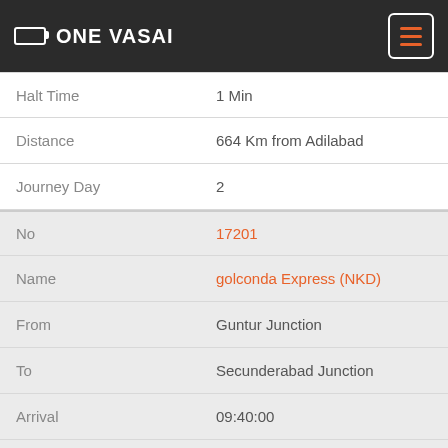ONE VASAI
| Field | Value |
| --- | --- |
| Halt Time | 1 Min |
| Distance | 664 Km from Adilabad |
| Journey Day | 2 |
| No | 17201 |
| Name | golconda Express (NKD) |
| From | Guntur Junction |
| To | Secunderabad Junction |
| Arrival | 09:40:00 |
| Departure | 09:41:00 |
| DaysOfWeek | Daily |
| Halt Time | 1 Min |
| Distance | 211 Km from Guntur Junction |